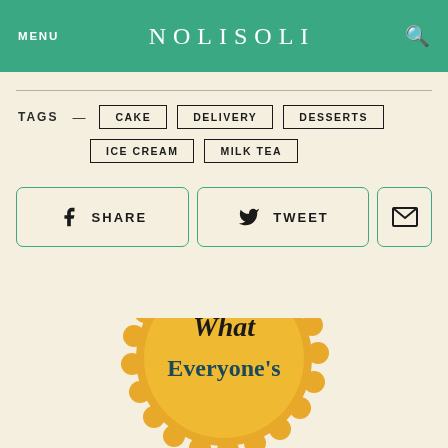MENU   NOLISOLI   🔍
TAGS — CAKE  DELIVERY  DESSERTS  ICE CREAM  MILK TEA
SHARE   TWEET   (email icon)
[Figure (illustration): Gold/yellow badge seal with text 'What Everyone's' visible, partially cut off at bottom of page]